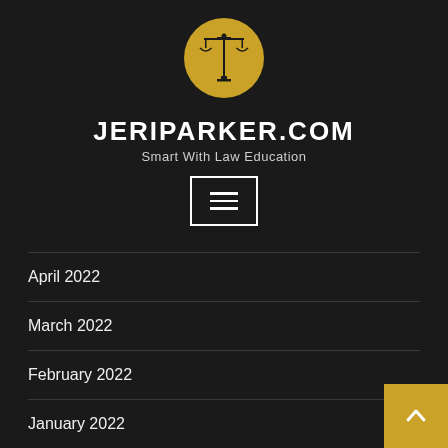[Figure (logo): Gold circular logo with scales of justice and pillar icon for JeriParker.com]
JERIPARKER.COM
Smart With Law Education
[Figure (other): Hamburger menu button with three horizontal lines, white border]
April 2022
March 2022
February 2022
January 2022
December 2021